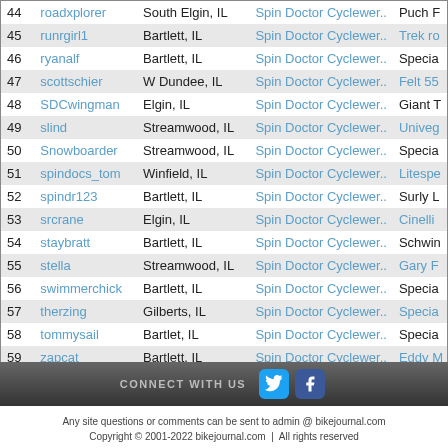| # | Username | Location | Shop | Bike |
| --- | --- | --- | --- | --- |
| 44 | roadxplorer | South Elgin, IL | Spin Doctor Cyclewer.. | Puch F |
| 45 | runrgirl1 | Bartlett, IL | Spin Doctor Cyclewer.. | Trek ro |
| 46 | ryanalf | Bartlett, IL | Spin Doctor Cyclewer.. | Specia |
| 47 | scottschier | W Dundee, IL | Spin Doctor Cyclewer.. | Felt 55 |
| 48 | SDCwingman | Elgin, IL | Spin Doctor Cyclewer.. | Giant T |
| 49 | slind | Streamwood, IL | Spin Doctor Cyclewer.. | Univeg |
| 50 | Snowboarder | Streamwood, IL | Spin Doctor Cyclewer.. | Specia |
| 51 | spindocs_tom | Winfield, IL | Spin Doctor Cyclewer.. | Litespe |
| 52 | spindr123 | Bartlett, IL | Spin Doctor Cyclewer.. | Surly L |
| 53 | srcrane | Elgin, IL | Spin Doctor Cyclewer.. | Cinelli |
| 54 | staybratt | Bartlett, IL | Spin Doctor Cyclewer.. | Schwin |
| 55 | stella | Streamwood, IL | Spin Doctor Cyclewer.. | Gary F |
| 56 | swimmerchick | Bartlett, IL | Spin Doctor Cyclewer.. | Specia |
| 57 | therzing | Gilberts, IL | Spin Doctor Cyclewer.. | Specia |
| 58 | tommysail | Bartlet, IL | Spin Doctor Cyclewer.. | Specia |
| 59 | zapcat | Bartlett, IL | Spin Doctor Cyclewer.. | Eddy M |
CONNECT WITH US
Any site questions or comments can be sent to admin @ bikejournal.com
Copyright © 2001-2022 bikejournal.com | All rights reserved